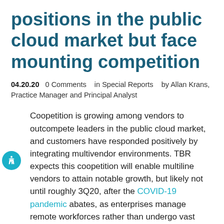positions in the public cloud market but face mounting competition
04.20.20   0 Comments   in Special Reports   by Allan Krans, Practice Manager and Principal Analyst
Coopetition is growing among vendors to outcompete leaders in the public cloud market, and customers have responded positively by integrating multivendor environments. TBR expects this coopetition will enable multiline vendors to attain notable growth, but likely not until roughly 3Q20, after the COVID-19 pandemic abates, as enterprises manage remote workforces rather than undergo vast integrations